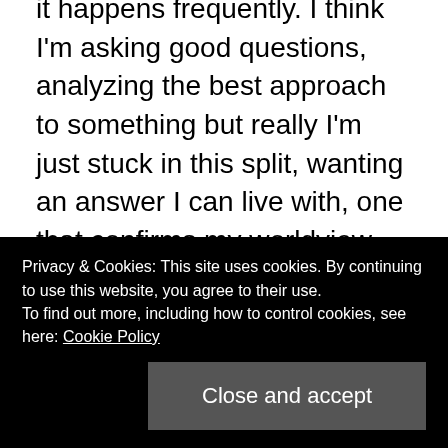it happens frequently. I think I'm asking good questions, analyzing the best approach to something but really I'm just stuck in this split, wanting an answer I can live with, one that confirms my worldview and belief system, something that isn't going to be demanding in its corollaries. That would be too frightening. And when I'm most fearful, I tend to become most dogmatic. This is the moment when I am vulnerable to zen sickness: there is no decision, no decision-maker, no garden, no paperwork. I'm starting to see that the most insidious of my cravings is the desire to annihilate reality because it, too often, confirms my limited self.
Privacy & Cookies: This site uses cookies. By continuing to use this website, you agree to their use. To find out more, including how to control cookies, see here: Cookie Policy
Close and accept
conditioned to protect ourselves however we derive